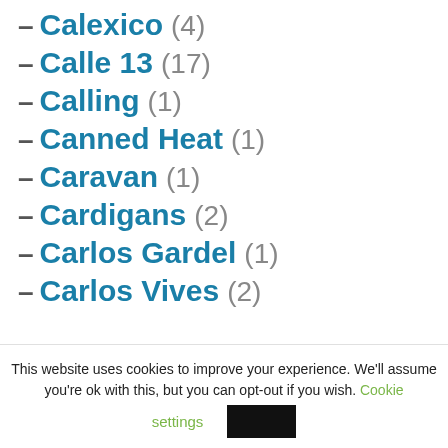– Calexico (4)
– Calle 13 (17)
– Calling (1)
– Canned Heat (1)
– Caravan (1)
– Cardigans (2)
– Carlos Gardel (1)
– Carlos Vives (2)
This website uses cookies to improve your experience. We'll assume you're ok with this, but you can opt-out if you wish. Cookie settings